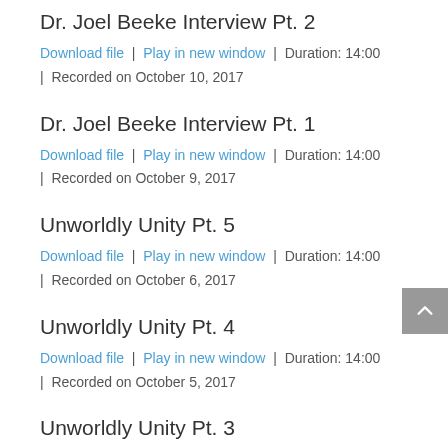Dr. Joel Beeke Interview Pt. 2
Download file | Play in new window | Duration: 14:00 | Recorded on October 10, 2017
Dr. Joel Beeke Interview Pt. 1
Download file | Play in new window | Duration: 14:00 | Recorded on October 9, 2017
Unworldly Unity Pt. 5
Download file | Play in new window | Duration: 14:00 | Recorded on October 6, 2017
Unworldly Unity Pt. 4
Download file | Play in new window | Duration: 14:00 | Recorded on October 5, 2017
Unworldly Unity Pt. 3